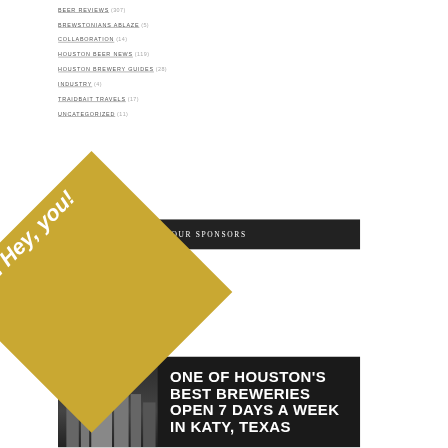BEER REVIEWS (307)
BREWSTONIANS ABLAZE (5)
COLLABORATION (14)
HOUSTON BEER NEWS (119)
HOUSTON BREWERY GUIDES (28)
INDUSTRY (4)
TRAIDBAIT TRAVELS (17)
UNCATEGORIZED (11)
OUR SPONSORS
Psst.. Hey, you!
[Figure (photo): Dark card with silhouette image of a brewery/building and bold white text reading ONE OF HOUSTON'S BEST BREWERIES OPEN 7 DAYS A WEEK IN KATY, TEXAS]